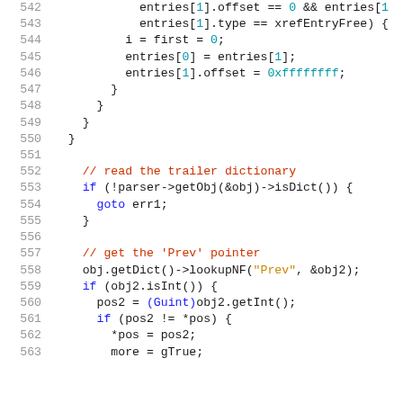Source code snippet lines 542-563, C++ code for reading trailer dictionary and 'Prev' pointer
542: entries[1].offset == 0 && entries[1
543:     entries[1].type == xrefEntryFree) {
544:     i = first = 0;
545:     entries[0] = entries[1];
546:     entries[1].offset = 0xffffffff;
547:   }
548:  }
549: }
550: }
551: (empty)
552: // read the trailer dictionary
553: if (!parser->getObj(&obj)->isDict()) {
554:   goto err1;
555: }
556: (empty)
557: // get the 'Prev' pointer
558: obj.getDict()->lookupNF("Prev", &obj2);
559: if (obj2.isInt()) {
560:   pos2 = (Guint)obj2.getInt();
561:   if (pos2 != *pos) {
562:     *pos = pos2;
563:     more = gTrue;